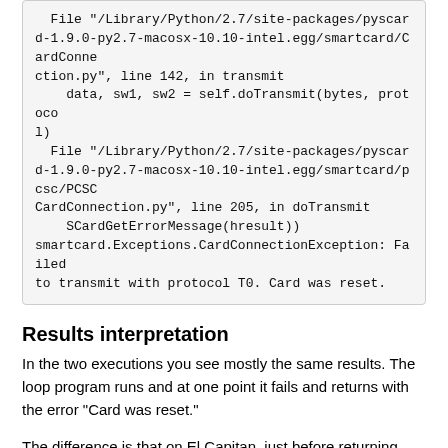File "/Library/Python/2.7/site-packages/pyscard-1.9.0-py2.7-macosx-10.10-intel.egg/smartcard/CardConnection.py", line 142, in transmit
    data, sw1, sw2 = self.doTransmit(bytes, protocol)
  File "/Library/Python/2.7/site-packages/pyscard-1.9.0-py2.7-macosx-10.10-intel.egg/smartcard/pcsc/PCSCCardConnection.py", line 205, in doTransmit
    SCardGetErrorMessage(hresult))
smartcard.Exceptions.CardConnectionException: Failed to transmit with protocol T0. Card was reset.
Results interpretation
In the two executions you see mostly the same results. The loop program runs and at one point it fails and returns with the error "Card was reset."
The difference is that on El Capitan, just before returning with the error code, the program returned an error from the card "69 85". This is because the applet is not selected so the command is no more understood by the card. And the